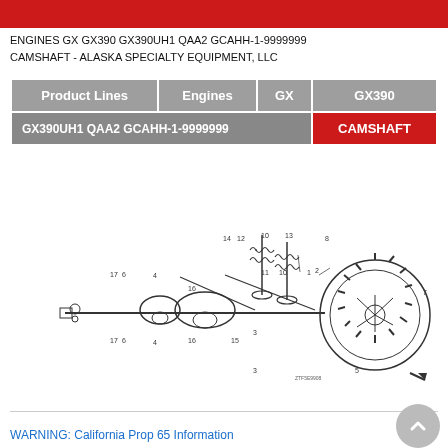ENGINES GX GX390 GX390UH1 QAA2 GCAHH-1-9999999
CAMSHAFT - ALASKA SPECIALTY EQUIPMENT, LLC
| Product Lines | Engines | GX | GX390 |
| --- | --- | --- | --- |
| GX390UH1 QAA2 GCAHH-1-9999999 |  |  | CAMSHAFT |
[Figure (engineering-diagram): Exploded parts diagram of a camshaft assembly with numbered parts including valves, springs, gears, and related components. Part numbers 1-17 are visible with callout lines.]
WARNING: California Prop 65 Information